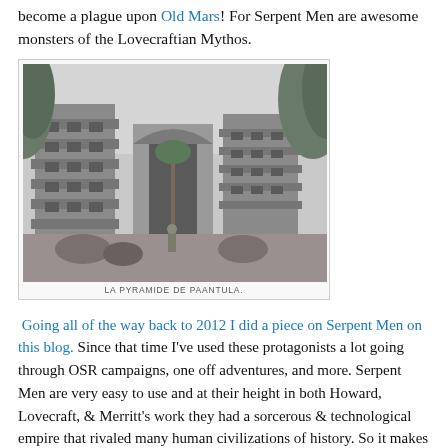become a plague upon Old Mars! For Serpent Men are awesome monsters of the Lovecraftian Mythos.
[Figure (illustration): Black and white engraving/etching of ancient Mesoamerican ruins or temple structures surrounded by tropical vegetation, with caption reading 'LA PYRAMIDE DE PAANTULA' or similar.]
Going all of the way back to 2012 I did a piece on Serpent Men on this blog. Since that time I've used these protagonists a lot going through OSR campaigns, one off adventures, and more. Serpent Men are very easy to use and at their height in both Howard, Lovecraft, & Merritt's work they had a sorcerous & technological empire that rivaled many human civilizations of history. So it makes sense they they'd have reached the stars and beyond.